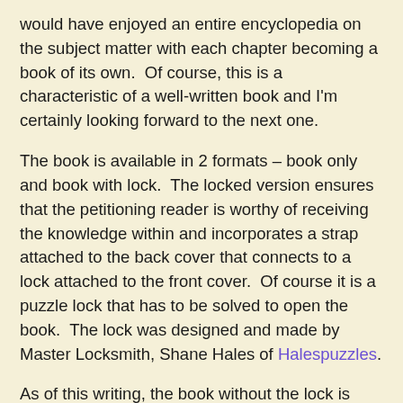would have enjoyed an entire encyclopedia on the subject matter with each chapter becoming a book of its own.  Of course, this is a characteristic of a well-written book and I'm certainly looking forward to the next one.
The book is available in 2 formats – book only and book with lock.  The locked version ensures that the petitioning reader is worthy of receiving the knowledge within and incorporates a strap attached to the back cover that connects to a lock attached to the front cover.  Of course it is a puzzle lock that has to be solved to open the book.  The lock was designed and made by Master Locksmith, Shane Hales of Halespuzzles.
As of this writing, the book without the lock is available at Cubicdissection and the locked version is available at Puzzle Master.  Pelikan Puzzles offers both versions of the book together as a set in case you want the locked copy but also require an easy access version if you feel you may not be worthy.  Both versions are also individually available from Grand Illusions.